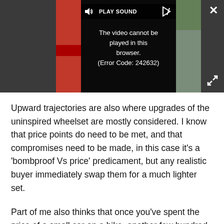[Figure (screenshot): Video player showing error message 'The video cannot be played in this browser. (Error Code: 242632)' with a dark overlay, PLAY SOUND button, close (X) button, and expand button.]
Upward trajectories are also where upgrades of the uninspired wheelset are mostly considered. I know that price points do need to be met, and that compromises need to be made, in this case it's a 'bombproof Vs price' predicament, but any realistic buyer immediately swap them for a much lighter set.
Part of me also thinks that once you've spent the price of a small car on a bike, another few hundred on wheels is lost in the noise.  Upgrade to what is a good question, but